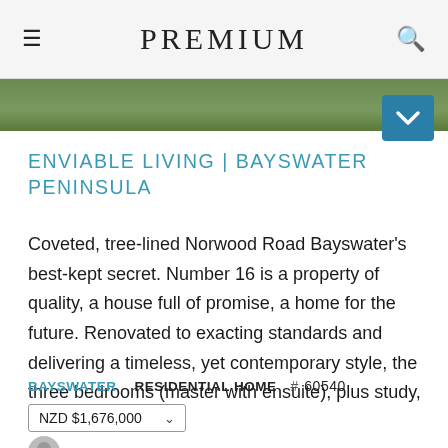PREMIUM
[Figure (photo): Green tree-lined outdoor photo strip]
ENVIABLE LIVING | BAYSWATER PENINSULA
Coveted, tree-lined Norwood Road Bayswater's best-kept secret. Number 16 is a property of quality, a house full of promise, a home for the future. Renovated to exacting standards and delivering a timeless, yet contemporary style, the three bedrooms (master with ensuite), plus study, …
BAYSWATER   RESIDENTIAL HOME   # 60540
NZD $1,676,000
Peter Vallabroot